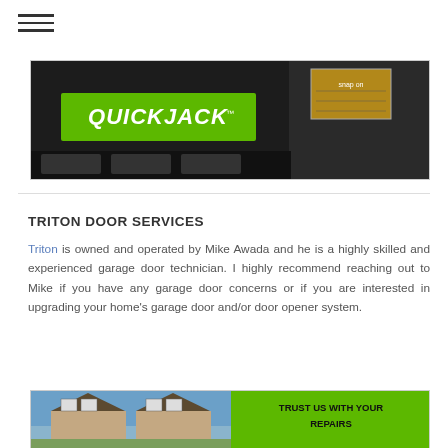[Figure (screenshot): QuickJack branded banner advertisement with dark background and green logo text]
TRITON DOOR SERVICES
Triton is owned and operated by Mike Awada and he is a highly skilled and experienced garage door technician. I highly recommend reaching out to Mike if you have any garage door concerns or if you are interested in upgrading your home's garage door and/or door opener system.
[Figure (photo): House exterior photo on left with green panel on right reading TRUST US WITH YOUR REPAIRS]